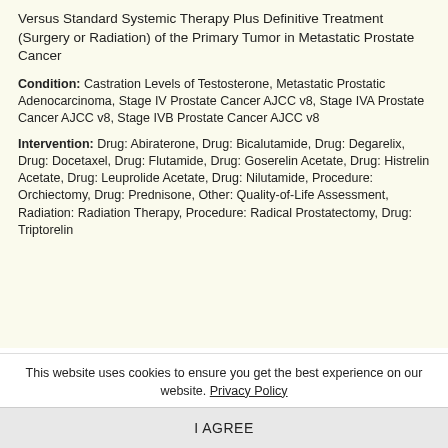Versus Standard Systemic Therapy Plus Definitive Treatment (Surgery or Radiation) of the Primary Tumor in Metastatic Prostate Cancer
Condition: Castration Levels of Testosterone, Metastatic Prostatic Adenocarcinoma, Stage IV Prostate Cancer AJCC v8, Stage IVA Prostate Cancer AJCC v8, Stage IVB Prostate Cancer AJCC v8
Intervention: Drug: Abiraterone, Drug: Bicalutamide, Drug: Degarelix, Drug: Docetaxel, Drug: Flutamide, Drug: Goserelin Acetate, Drug: Histrelin Acetate, Drug: Leuprolide Acetate, Drug: Nilutamide, Procedure: Orchiectomy, Drug: Prednisone, Other: Quality-of-Life Assessment, Radiation: Radiation Therapy, Procedure: Radical Prostatectomy, Drug: Triptorelin
This website uses cookies to ensure you get the best experience on our website. Privacy Policy
I AGREE